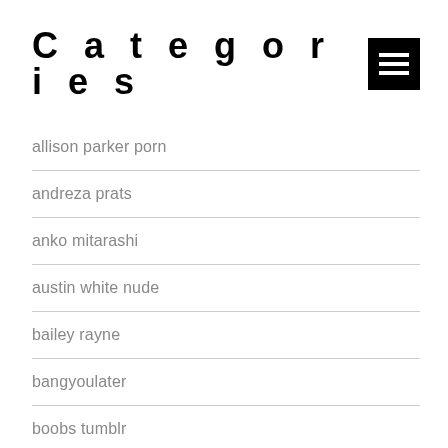Categories
allison parker porn
andreza prats
anko mitarashi
austin white nude
bailey rayne
bangyoulater
boobs tumblr
brittanya razavi nude
brittanya razavi porn
brooke langton nude